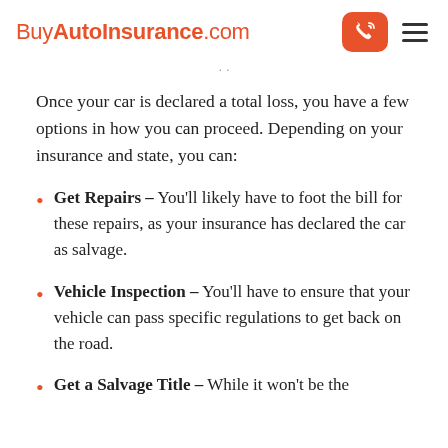BuyAutoInsurance.com
Once your car is declared a total loss, you have a few options in how you can proceed. Depending on your insurance and state, you can:
Get Repairs – You'll likely have to foot the bill for these repairs, as your insurance has declared the car as salvage.
Vehicle Inspection – You'll have to ensure that your vehicle can pass specific regulations to get back on the road.
Get a Salvage Title – While it won't be the same as your other title, it'll allow you to...